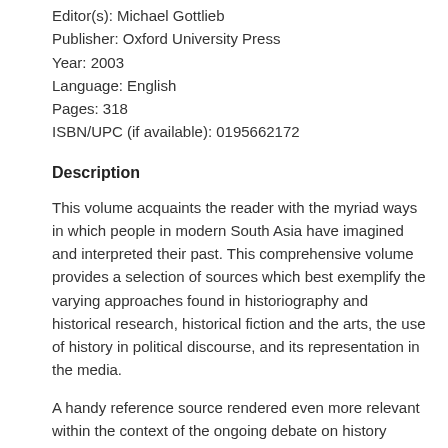Editor(s): Michael Gottlieb
Publisher: Oxford University Press
Year: 2003
Language: English
Pages: 318
ISBN/UPC (if available): 0195662172
Description
This volume acquaints the reader with the myriad ways in which people in modern South Asia have imagined and interpreted their past. This comprehensive volume provides a selection of sources which best exemplify the varying approaches found in historiography and historical research, historical fiction and the arts, the use of history in political discourse, and its representation in the media.
A handy reference source rendered even more relevant within the context of the ongoing debate on history writing, this volume will be invaluable reading for students and scholars of modern Indian history, South Asian studies, sociology, and politics, as well as the interested lay reader.